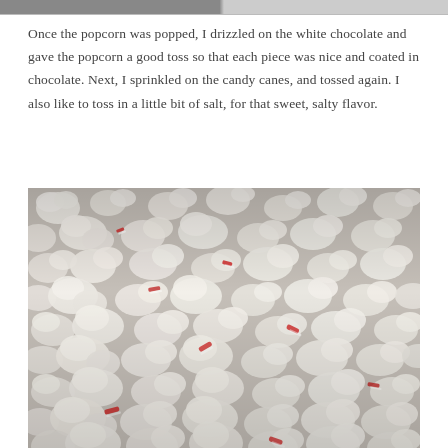[Figure (photo): Partial view of two photos at the top of the page, cropped at the top edge]
Once the popcorn was popped, I drizzled on the white chocolate and gave the popcorn a good toss so that each piece was nice and coated in chocolate. Next, I sprinkled on the candy canes, and tossed again. I also like to toss in a little bit of salt, for that sweet, salty flavor.
[Figure (photo): Close-up overhead photo of white chocolate peppermint popcorn with candy cane pieces mixed in, spread across a surface]